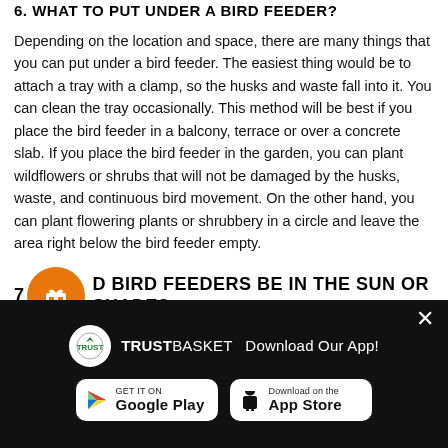6. WHAT TO PUT UNDER A BIRD FEEDER?
Depending on the location and space, there are many things that you can put under a bird feeder. The easiest thing would be to attach a tray with a clamp, so the husks and waste fall into it. You can clean the tray occasionally. This method will be best if you place the bird feeder in a balcony, terrace or over a concrete slab. If you place the bird feeder in the garden, you can plant wildflowers or shrubs that will not be damaged by the husks, waste, and continuous bird movement. On the other hand, you can plant flowering plants or shrubbery in a circle and leave the area right below the bird feeder empty.
7. SHOULD BIRD FEEDERS BE IN THE SUN OR SHADE?
The placement of the bird feeder is important as it will
[Figure (other): TrustBasket app download banner with Google Play and App Store buttons on a dark background, with a close (x) button]
TRUSTBASKET Download Our App!
GET IT ON Google Play | Download on the App Store